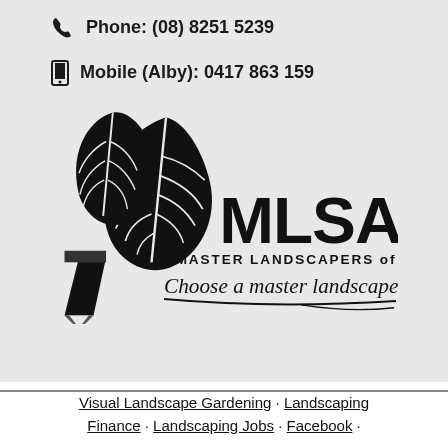Phone: (08) 8251 5239
Mobile (Alby): 0417 863 159
[Figure (logo): MLSA Master Landscapers of SA logo with leaf and pencil graphic, tagline 'Choose a master landscaper']
Visual Landscape Gardening · Landscaping Finance · Landscaping Jobs · Facebook ·